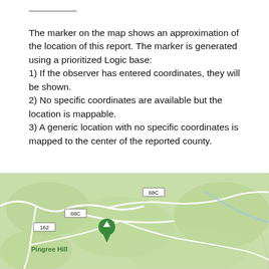The marker on the map shows an approximation of the location of this report. The marker is generated using a prioritized Logic base:
1) If the observer has entered coordinates, they will be shown.
2) No specific coordinates are available but the location is mappable.
3) A generic location with no specific coordinates is mapped to the center of the reported county.
[Figure (map): A Google Maps style map showing a green hilly terrain area with road labels 68C, 68C, and 162, and a green location marker pin near 'Pingree Hill' label.]